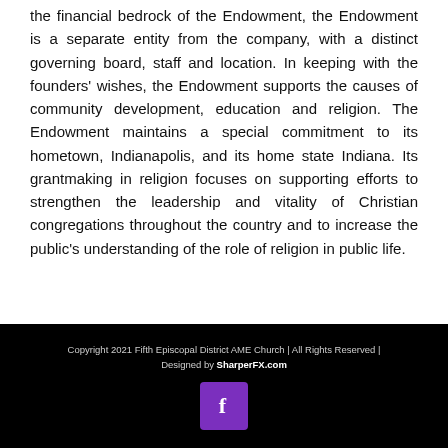the financial bedrock of the Endowment, the Endowment is a separate entity from the company, with a distinct governing board, staff and location. In keeping with the founders' wishes, the Endowment supports the causes of community development, education and religion. The Endowment maintains a special commitment to its hometown, Indianapolis, and its home state Indiana. Its grantmaking in religion focuses on supporting efforts to strengthen the leadership and vitality of Christian congregations throughout the country and to increase the public's understanding of the role of religion in public life.
Copyright 2021 Fifth Episcopal District AME Church | All Rights Reserved | Designed by SharperFX.com